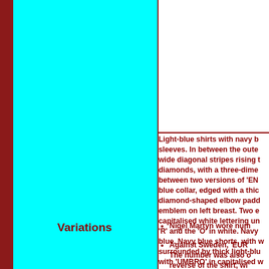Light-blue shirts with navy b... sleeves. In between the oute... wide diagonal stripes rising t... diamonds, with a three-dime... between two versions of 'EN... blue collar, edged with a thic... diamond-shaped elbow padd... emblem on left breast. Two e... capitalised white lettering un... 'R' and the 'O' in white. Navy ... blue. Navy blue shorts, with w... surrounded by thick light-blu... with 'UMBRO' in capitalised w... gap between the 'R' and the '... sets of two light-blue concen... blue hoops.
Variations
Nigel Martyn wore num...
Against Sweden, 'EUR... The number was also o... reverse of the shirt, wi... was worn above the n...